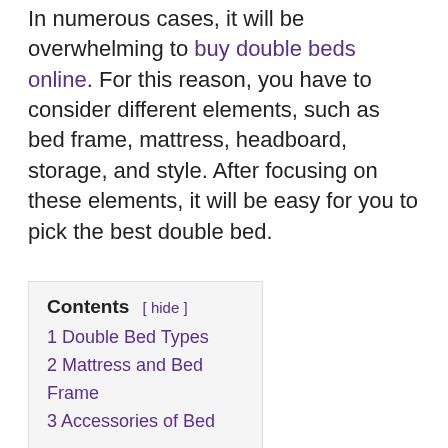In numerous cases, it will be overwhelming to buy double beds online. For this reason, you have to consider different elements, such as bed frame, mattress, headboard, storage, and style. After focusing on these elements, it will be easy for you to pick the best double bed.
1 Double Bed Types
2 Mattress and Bed Frame
3 Accessories of Bed
Double Bed Types
Before choosing a bed, you should measure the available space. It is essential to maximize